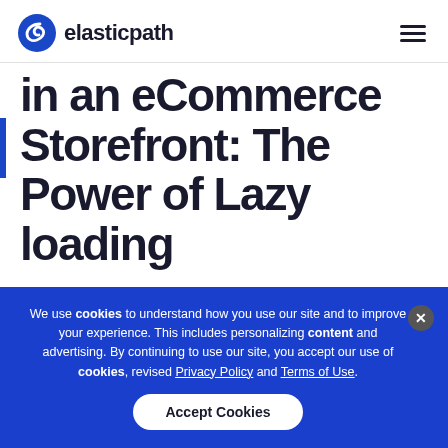elasticpath
in an eCommerce Storefront: The Power of Lazy loading
Written by Alvin Chan
We use cookies to understand how you use our site and to improve your experience. This includes personalizing content and advertising. By continuing to use our site, you accept our use of cookies, revised Privacy Policy and Terms of Use.
Accept Cookies